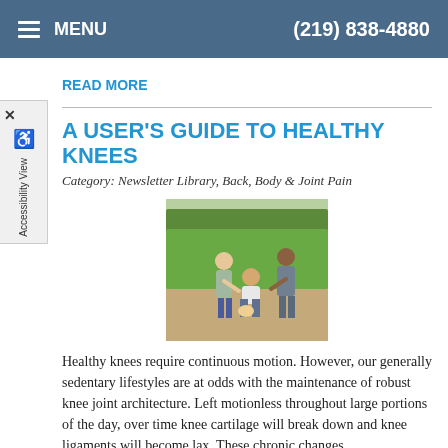≡ MENU    (219) 838-4880
READ MORE
A USER'S GUIDE TO HEALTHY KNEES
Category: Newsletter Library, Back, Body & Joint Pain
[Figure (photo): Three people outdoors, one person crouching holding their knee, two others standing nearby, appearing to assist or observe, green trees in background.]
Healthy knees require continuous motion. However, our generally sedentary lifestyles are at odds with the maintenance of robust knee joint architecture. Left motionless throughout large portions of the day, over time knee cartilage will break down and knee ligaments will become lax. These chronic changes